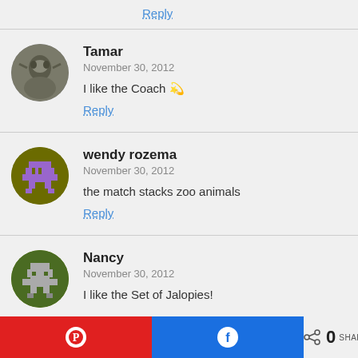Reply
Tamar
November 30, 2012
I like the Coach 🐾
Reply
wendy rozema
November 30, 2012
the match stacks zoo animals
Reply
Nancy
November 30, 2012
I like the Set of Jalopies!
[Figure (infographic): Bottom bar with Pinterest red button, Facebook blue button, and share count showing 0 SHARES]